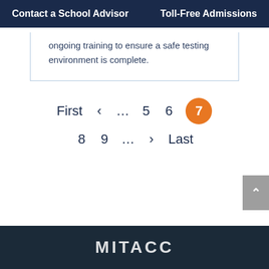Contact a School Advisor    Toll-Free Admissions
ongoing training to ensure a safe testing environment is complete.
First  <  ...  5  6  7  8  9  ...  >  Last
MITACC (logo)